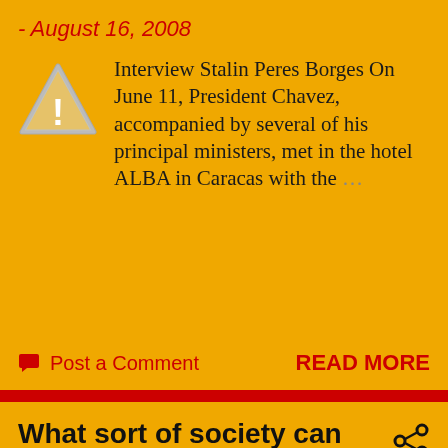- August 16, 2008
Interview Stalin Peres Borges On June 11, President Chavez, accompanied by several of his principal ministers, met in the hotel ALBA in Caracas with the …
Post a Comment
READ MORE
What sort of society can save the planet?
- August 14, 2008
A sustainable future requires a